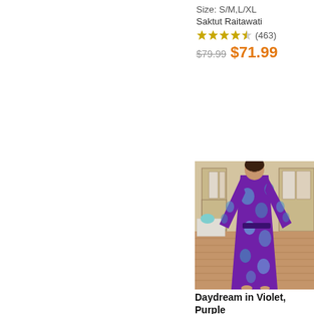Size: S/M,L/XL
Saktut Raitawati
★★★★☆ (463)
$79.99  $71.99
[Figure (photo): Woman wearing a purple and blue batik floral print long robe/kimono, standing on a patio with furniture in the background.]
Daydream in Violet, Purple Blue Batik Print Long...
Size: 51" Length (from high-p...